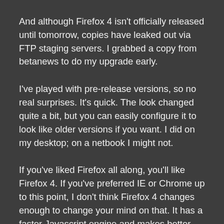And although Firefox 4 isn't officially released until tomorrow, copies have leaked out via FTP staging servers. I grabbed a copy from betanews to do my upgrade early.
I've played with pre-release versions, so no real surprises. It's quick. The look changed quite a bit, but you can easily configure it to look like older versions if you want. I did on my desktop; on a netbook I might not.
If you've liked Firefox all along, you'll like Firefox 4. If you've preferred IE or Chrome up to this point, I don't think Firefox 4 changes enough to change your mind on that. It has a faster Javascript engine and makes better use of graphics hardware on Windows Vista or 7, but aside from that, it's still the same basic browser. IE9 has all that too, and Chrome has fast Javascript